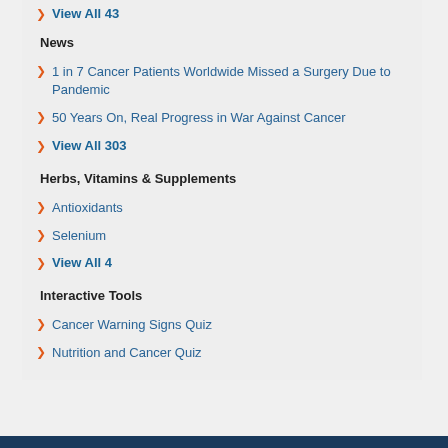View All 43
News
1 in 7 Cancer Patients Worldwide Missed a Surgery Due to Pandemic
50 Years On, Real Progress in War Against Cancer
View All 303
Herbs, Vitamins & Supplements
Antioxidants
Selenium
View All 4
Interactive Tools
Cancer Warning Signs Quiz
Nutrition and Cancer Quiz